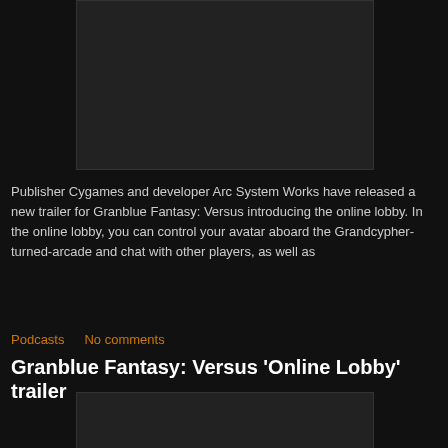[Figure (screenshot): Dark video thumbnail placeholder at top of page]
Publisher Cygames and developer Arc System Works have released a new trailer for Granblue Fantasy: Versus introducing the online lobby. In the online lobby, you can control your avatar aboard the Grandcypher-turned-arcade and chat with other players, as well as
Podcasts
No comments
Granblue Fantasy: Versus 'Online Lobby' trailer
[Figure (screenshot): Dark video thumbnail placeholder at bottom of page]